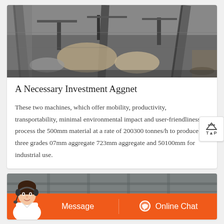[Figure (photo): Aerial/overhead view of a quarry or mining operation with conveyor belts, aggregate piles, and industrial machinery visible from above in grayscale/muted tones.]
A Necessary Investment Aggnet
These two machines, which offer mobility, productivity, transportability, minimal environmental impact and user-friendliness, process the 500mm material at a rate of 200300 tonnes/h to produce three grades 07mm aggregate 723mm aggregate and 50100mm for industrial use.
[Figure (photo): Bottom banner showing an industrial/factory background with a customer service representative (woman with headset) on the left, and an orange banner with 'Message' and 'Online Chat' buttons.]